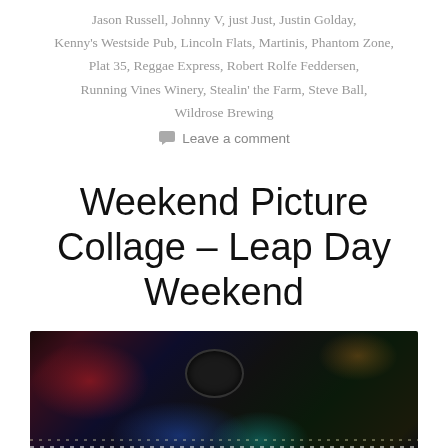Jason Russell, Johnny V, just Just, Justin Golday, Kenny's Westside Pub, Lincoln Flats, Martinis, Phantom Zone, Plat 35, Reggae Express, Robert Rolfe Feddersen, Running Vines Winery, Stealin' the Farm, Steve Ball, Wildrose Brewing
Leave a comment
Weekend Picture Collage – Leap Day Weekend
[Figure (photo): Dark interior of a bar or venue with string lights, speakers hanging from the ceiling, red and blue lighting, and atmospheric glow from stage or ambient lights.]